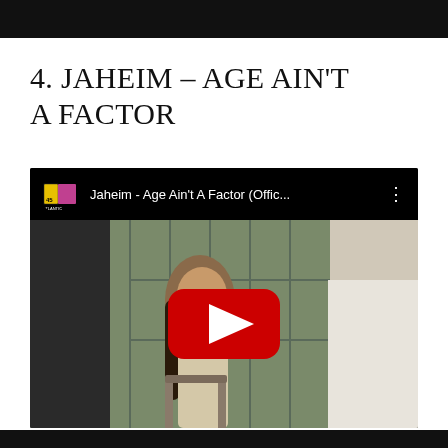4. JAHEIM – AGE AIN'T A FACTOR
[Figure (screenshot): YouTube video embed showing 'Jaheim - Age Ain't A Factor (Offic...' with Atlantic Records logo, YouTube play button overlay on a music video thumbnail featuring a woman in white]